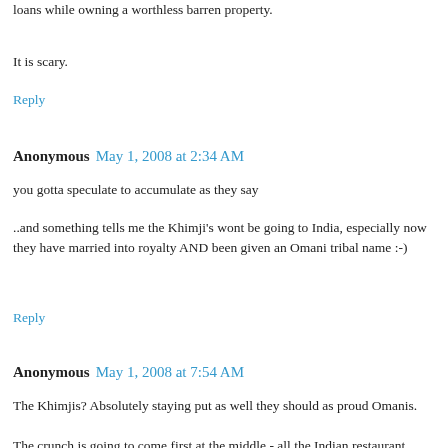loans while owning a worthless barren property.
It is scary.
Reply
Anonymous May 1, 2008 at 2:34 AM
you gotta speculate to accumulate as they say
..and something tells me the Khimji's wont be going to India, especially now they have married into royalty AND been given an Omani tribal name :-)
Reply
Anonymous May 1, 2008 at 7:54 AM
The Khimjis? Absolutely staying put as well they should as proud Omanis.
The crunch is going to come first at the middle - all the Indian restaurant managers, bookkeepers, salespeople, IT